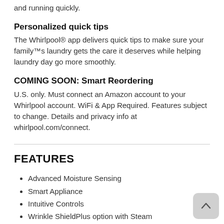and running quickly.
Personalized quick tips
The Whirlpool® app delivers quick tips to make sure your family™s laundry gets the care it deserves while helping laundry day go more smoothly.
COMING SOON: Smart Reordering
U.S. only. Must connect an Amazon account to your Whirlpool account. WiFi & App Required. Features subject to change. Details and privacy info at whirlpool.com/connect.
FEATURES
Advanced Moisture Sensing
Smart Appliance
Intuitive Controls
Wrinkle ShieldPlus option with Steam
EcoBoostoption